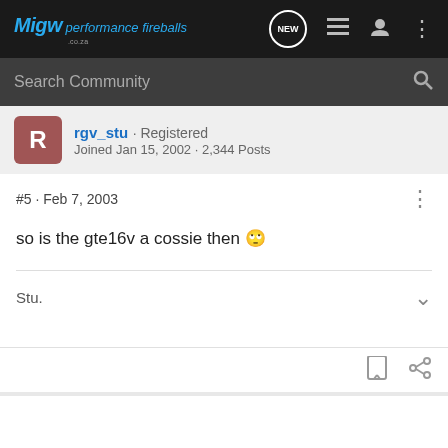Migw performance fireballs - navigation bar with logo and icons
Search Community
rgv_stu · Registered
Joined Jan 15, 2002 · 2,344 Posts
#5 · Feb 7, 2003
so is the gte16v a cossie then 🙄
Stu.